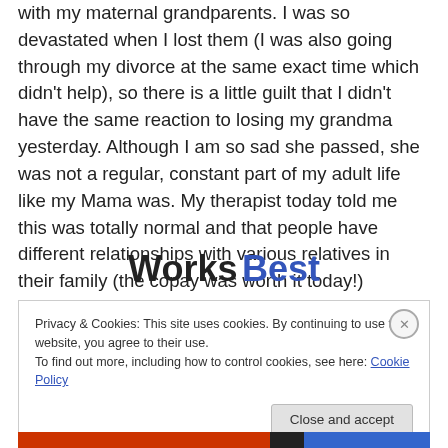with my maternal grandparents. I was so devastated when I lost them (I was also going through my divorce at the same exact time which didn't help), so there is a little guilt that I didn't have the same reaction to losing my grandma yesterday. Although I am so sad she passed, she was not a regular, constant part of my adult life like my Mama was. My therapist today told me this was totally normal and that people have different relationships with various relatives in their family (the copay was worth it today!)
Works Best
Privacy & Cookies: This site uses cookies. By continuing to use this website, you agree to their use. To find out more, including how to control cookies, see here: Cookie Policy